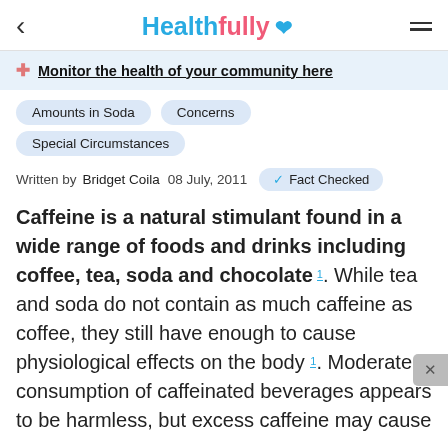Healthfully ♥
Monitor the health of your community here
Amounts in Soda
Concerns
Special Circumstances
Written by  Bridget Coila  08 July, 2011  ✓ Fact Checked
Caffeine is a natural stimulant found in a wide range of foods and drinks including coffee, tea, soda and chocolate 1. While tea and soda do not contain as much caffeine as coffee, they still have enough to cause physiological effects on the body 1. Moderate consumption of caffeinated beverages appears to be harmless, but excess caffeine may cause